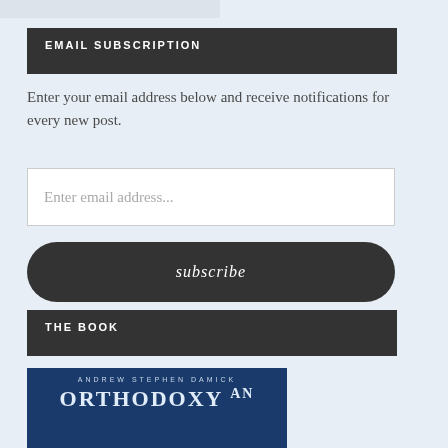[Figure (illustration): Partial cropped image visible at top of page]
EMAIL SUBSCRIPTION
Enter your email address below and receive notifications for every new post.
Enter email address...
subscribe
THE BOOK
[Figure (photo): Book cover showing 'ANDREW STEPHEN DAMICK' and 'ORTHODOXY AN...' on a dark blue background]